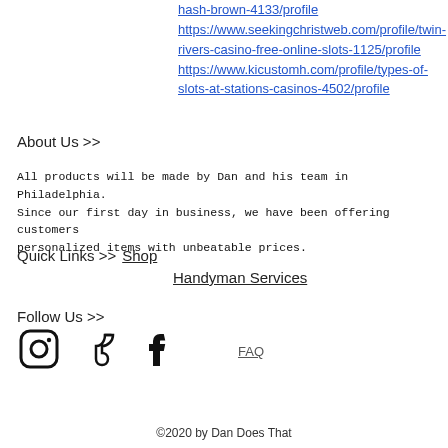hash-brown-4133/profile https://www.seekingchristweb.com/profile/twin-rivers-casino-free-online-slots-1125/profile https://www.kicustomh.com/profile/types-of-slots-at-stations-casinos-4502/profile
About Us >>
All products will be made by Dan and his team in Philadelphia. Since our first day in business, we have been offering customers personalized items with unbeatable prices.
Quick Links >> Shop
Handyman Services
Follow Us >>
[Figure (other): Social media icons: Instagram, TikTok, Facebook]
FAQ
©2020 by Dan Does That